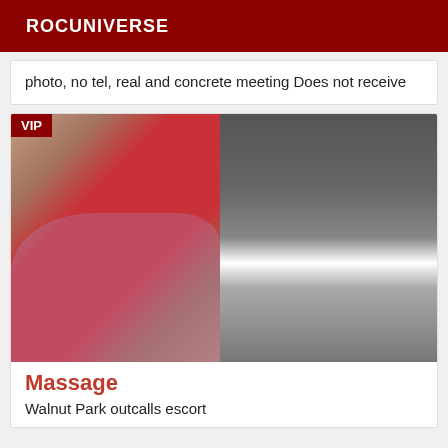ROCUNIVERSE
photo, no tel, real and concrete meeting Does not receive
[Figure (photo): VIP badge in top-left corner over a listing image showing a person on a bed with pink/lavender sheets wearing red clothing, and a dark reflective surface on the right half of the image.]
Massage
Walnut Park outcalls escort